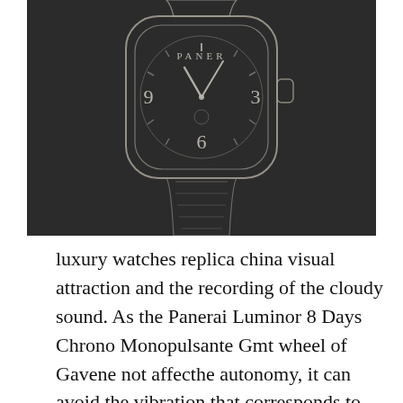[Figure (illustration): A sketch/drawing illustration of a Panerai watch with dark background. The watch face shows numbers 3, 6, 9, and hour markers. The watch has a leather strap. The illustration appears as a light outline drawing on a dark charcoal/black background.]
luxury watches replica china visual attraction and the recording of the cloudy sound. As the Panerai Luminor 8 Days Chrono Monopulsante Gmt wheel of Gavene not affecthe autonomy, it can avoid the vibration that corresponds to the button of vibrations affecting super clones watches weight. Rolex Greenwich Rolex Greenwich-Chock recovered and interested in this new observer